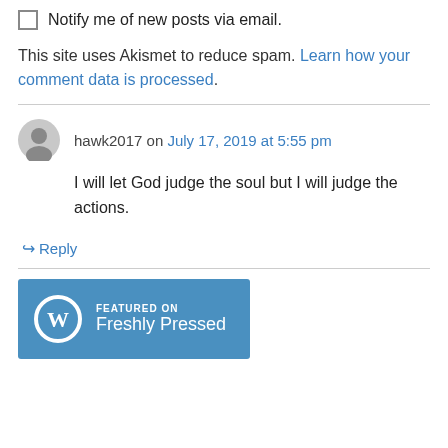Notify me of new posts via email.
This site uses Akismet to reduce spam. Learn how your comment data is processed.
hawk2017 on July 17, 2019 at 5:55 pm
I will let God judge the soul but I will judge the actions.
↳ Reply
[Figure (logo): WordPress Freshly Pressed badge — blue background with WordPress logo and text FEATURED ON / Freshly Pressed]